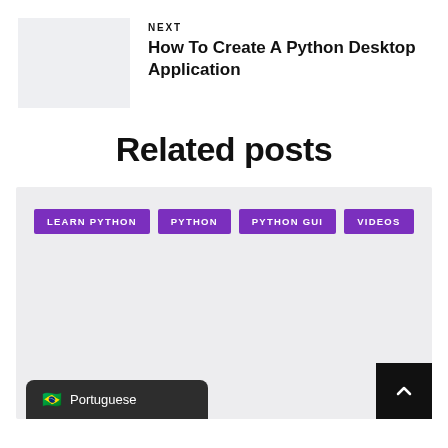[Figure (photo): Thumbnail image placeholder, light gray box]
NEXT
How To Create A Python Desktop Application
Related posts
LEARN PYTHON
PYTHON
PYTHON GUI
VIDEOS
[Figure (other): Scroll-to-top button, dark square with up arrow]
Portuguese